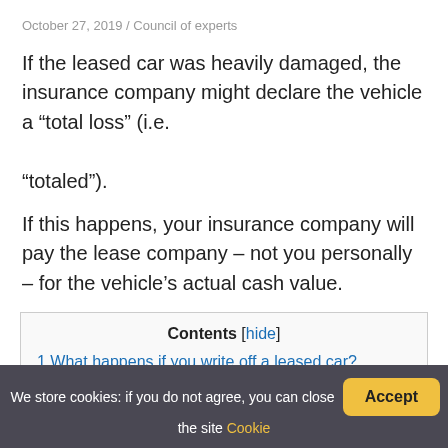October 27, 2019 / Council of experts
If the leased car was heavily damaged, the insurance company might declare the vehicle a “total loss” (i.e. “totaled”).
If this happens, your insurance company will pay the lease company – not you personally – for the vehicle’s actual cash value.
Contents [hide]
1 What happens if you write off a leased car?
2 What happens...
We store cookies: if you do not agree, you can close the site Cookie